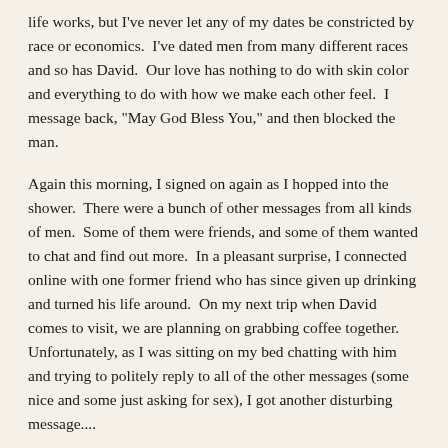life works, but I've never let any of my dates be constricted by race or economics.  I've dated men from many different races and so has David.  Our love has nothing to do with skin color and everything to do with how we make each other feel.  I message back, "May God Bless You," and then blocked the man.
Again this morning, I signed on again as I hopped into the shower.  There were a bunch of other messages from all kinds of men.  Some of them were friends, and some of them wanted to chat and find out more.  In a pleasant surprise, I connected online with one former friend who has since given up drinking and turned his life around.  On my next trip when David comes to visit, we are planning on grabbing coffee together.  Unfortunately, as I was sitting on my bed chatting with him and trying to politely reply to all of the other messages (some nice and some just asking for sex), I got another disturbing message....
"Can we just say GREENCARD marriage!?!"
Now I'm not unused to hearing things like this.  I do think that it is really odd that in less than 24 hours, I got two negative messages from handsome black men who I don't know and did not reach out